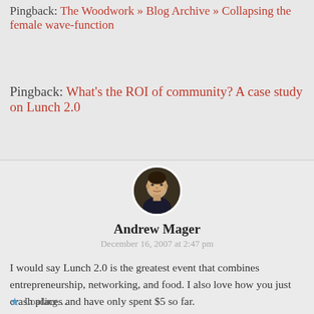Pingback: The Woodwork » Blog Archive » Collapsing the female wave-function
Pingback: What's the ROI of community? A case study on Lunch 2.0
[Figure (photo): Circular avatar photo of Andrew Mager]
Andrew Mager
December 16, 2007 at 2:47 pm
I would say Lunch 2.0 is the greatest event that combines entrepreneurship, networking, and food. I also love how you just crash places and have only spent $5 so far.
I just printed this out for the bathroom.
Loading...